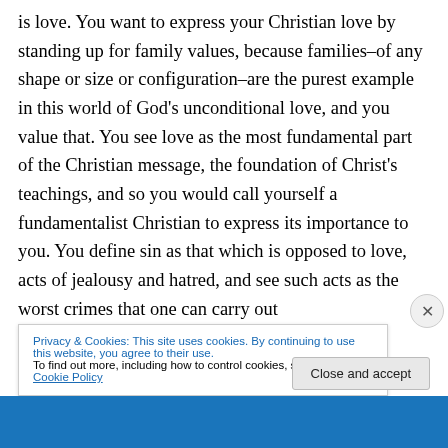is love. You want to express your Christian love by standing up for family values, because families–of any shape or size or configuration–are the purest example in this world of God's unconditional love, and you value that. You see love as the most fundamental part of the Christian message, the foundation of Christ's teachings, and so you would call yourself a fundamentalist Christian to express its importance to you. You define sin as that which is opposed to love, acts of jealousy and hatred, and see such acts as the worst crimes that one can carry out
Privacy & Cookies: This site uses cookies. By continuing to use this website, you agree to their use.
To find out more, including how to control cookies, see here: Cookie Policy